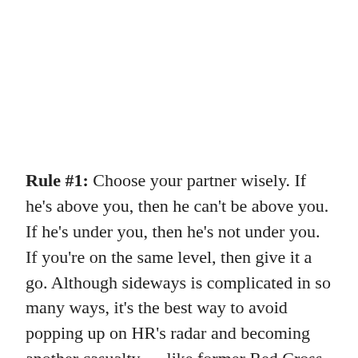Rule #1: Choose your partner wisely. If he's above you, then he can't be above you. If he's under you, then he's not under you. If you're on the same level, then give it a go. Although sideways is complicated in so many ways, it's the best way to avoid popping up on HR's radar and becoming another casualty — like former Red Cross president (and subordinate-shtupper) Mark Everson. After six months on the job, he was very publicly axed.